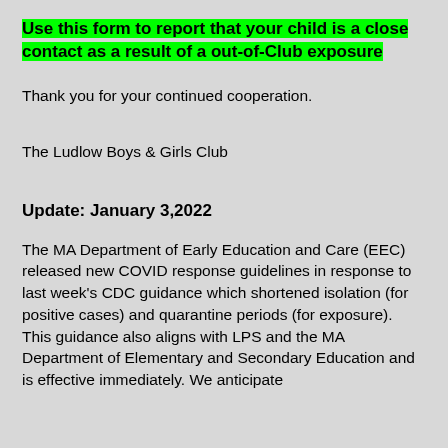Use this form to report that your child is a close contact as a result of a out-of-Club exposure
Thank you for your continued cooperation.
The Ludlow Boys & Girls Club
Update: January 3,2022
The MA Department of Early Education and Care (EEC) released new COVID response guidelines in response to last week's CDC guidance which shortened isolation (for positive cases) and quarantine periods (for exposure).  This guidance also aligns with LPS and the MA Department of Elementary and Secondary Education and is effective immediately. We anticipate